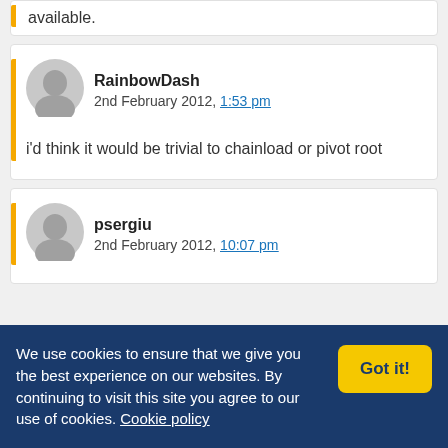available.
RainbowDash
2nd February 2012, 1:53 pm

i'd think it would be trivial to chainload or pivot root
psergiu
2nd February 2012, 10:07 pm
We use cookies to ensure that we give you the best experience on our websites. By continuing to visit this site you agree to our use of cookies. Cookie policy